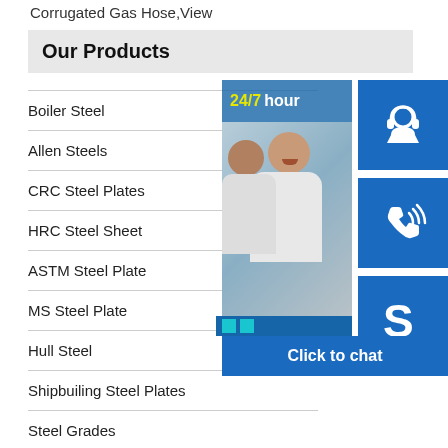Corrugated Gas Hose,View
Our Products
Boiler Steel
Allen Steels
CRC Steel Plates
HRC Steel Sheet
ASTM Steel Plate
MS Steel Plate
Hull Steel
Shipbuiling Steel Plates
Steel Grades
Steel Stocks
[Figure (screenshot): Customer service chat widget overlay with 24/7 hour banner, photo of smiling customer service representatives, headset icon button, phone icon button, Skype icon button, and 'Click to chat' bar at bottom]